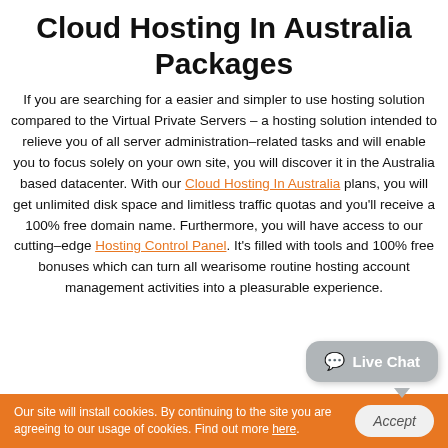Cloud Hosting In Australia Packages
If you are searching for a easier and simpler to use hosting solution compared to the Virtual Private Servers – a hosting solution intended to relieve you of all server administration–related tasks and will enable you to focus solely on your own site, you will discover it in the Australia based datacenter. With our Cloud Hosting In Australia plans, you will get unlimited disk space and limitless traffic quotas and you'll receive a 100% free domain name. Furthermore, you will have access to our cutting–edge Hosting Control Panel. It's filled with tools and 100% free bonuses which can turn all wearisome routine hosting account management activities into a pleasurable experience.
Live Chat
Our site will install cookies. By continuing to the site you are agreeing to our usage of cookies. Find out more here.